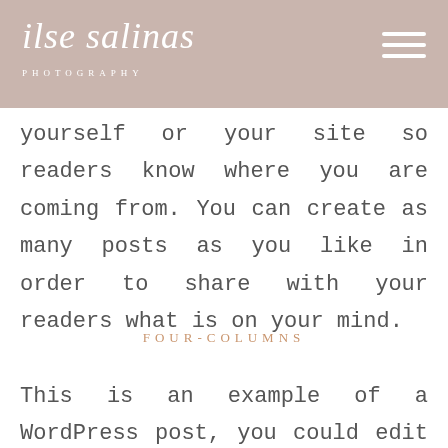ilse salinas PHOTOGRAPHY
yourself or your site so readers know where you are coming from. You can create as many posts as you like in order to share with your readers what is on your mind.
FOUR-COLUMNS
This is an example of a WordPress post, you could edit this to put information about